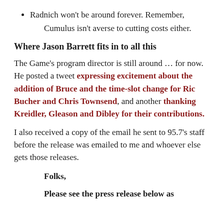Radnich won't be around forever. Remember, Cumulus isn't averse to cutting costs either.
Where Jason Barrett fits in to all this
The Game's program director is still around … for now. He posted a tweet expressing excitement about the addition of Bruce and the time-slot change for Ric Bucher and Chris Townsend, and another thanking Kreidler, Gleason and Dibley for their contributions.
I also received a copy of the email he sent to 95.7's staff before the release was emailed to me and whoever else gets those releases.
Folks,
Please see the press release below as